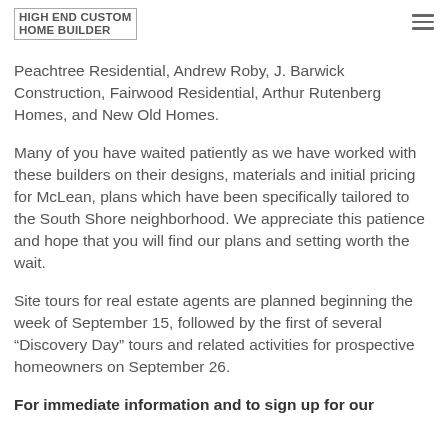HIGH END CUSTOM HOME BUILDER
our TLC homes district includes and related home Peachtree Residential, Andrew Roby, J. Barwick Construction, Fairwood Residential, Arthur Rutenberg Homes, and New Old Homes.
Many of you have waited patiently as we have worked with these builders on their designs, materials and initial pricing for McLean, plans which have been specifically tailored to the South Shore neighborhood. We appreciate this patience and hope that you will find our plans and setting worth the wait.
Site tours for real estate agents are planned beginning the week of September 15, followed by the first of several “Discovery Day” tours and related activities for prospective homeowners on September 26.
For immediate information and to sign up for our